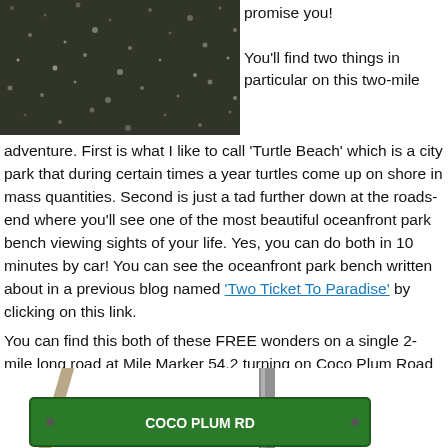[Figure (photo): Close-up photo of dark granular texture, appearing to be dark rock or ground surface with light speckles]
promise you!

You'll find two things in particular on this two-mile adventure. First is what I like to call ‘Turtle Beach’ which is a city park that during certain times a year turtles come up on shore in mass quantities. Second is just a tad further down at the roads-end where you’ll see one of the most beautiful oceanfront park bench viewing sights of your life. Yes, you can do both in 10 minutes by car! You can see the oceanfront park bench written about in a previous blog named ‘Two Ticket To Paradise’ by clicking on this link.
You can find this both of these FREE wonders on a single 2-mile long road at Mile Marker 54.2 turning on Coco Plum Road and heading towards the ocean. Both pictured markers are at the corner of US-1 and Coco Plum.
[Figure (photo): Bottom portion of a road sign for Coco Plum Road, green sign board with white text, metal pole visible, diagonal support post]